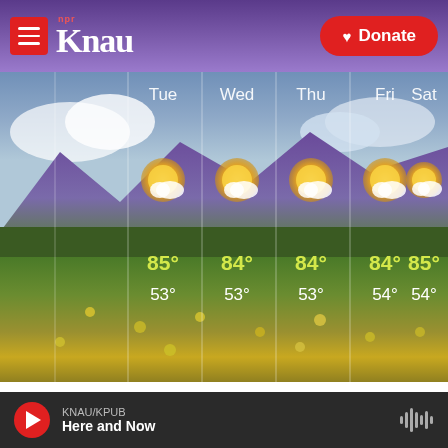[Figure (screenshot): KNAU NPR radio website header with hamburger menu, KNAU logo, and red Donate button on purple gradient background]
[Figure (infographic): 5-day weather forecast widget overlaid on scenic photo of yellow wildflower field with mountains. Days: Tue, Wed, Thu, Fri, Sat. High temps: 85°, 84°, 84°, 84°, 85°. Low temps: 53°, 53°, 53°, 54°, 54°. Each day shows a partly sunny weather icon.]
Lee Born's Weather
Hot and dry weather is forecast through the week.Isolated storms will re-enter the forecast late
KNAU/KPUB Here and Now